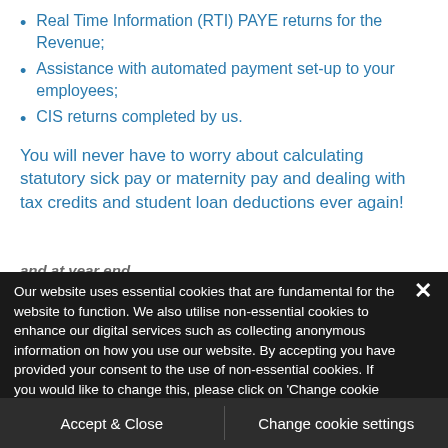Real Time Information (RTI) PAYE returns for the Revenue;
Assistance with automated payment set-up to your employees;
CIS returns completed by us.
You will never have to worry about calculating statutory sick pay or maternity pay and dealing with tax credits and student loan deductions ever again!
and at year end...
Our website uses essential cookies that are fundamental for the website to function. We also utilise non-essential cookies to enhance our digital services such as collecting anonymous information on how you use our website. By accepting you have provided your consent to the use of non-essential cookies. If you would like to change this, please click on 'Change cookie settings'.
Accept & Close
Change cookie settings